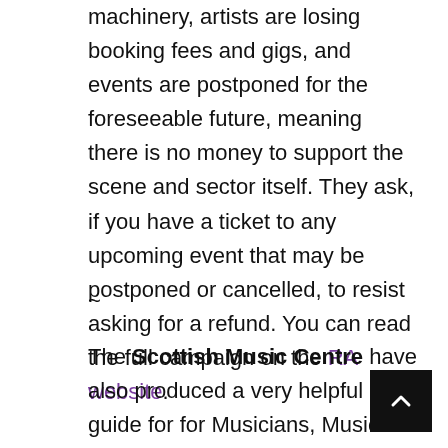machinery, artists are losing booking fees and gigs, and events are postponed for the foreseeable future, meaning there is no money to support the scene and sector itself. They ask, if you have a ticket to any upcoming event that may be postponed or cancelled, to resist asking for a refund. You can read the full campaign on the RA website.
~
The Scottish Music Centre have also produced a very helpful guide for for Musicians, Music Businesses and Freelancers in the Scottish music scene during the pandemic. Take a look here.